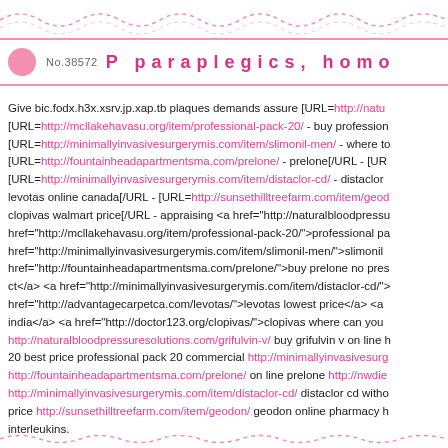No.38572  P paraplegics, homo
Give bic.fodx.h3x.xsrv.jp.xap.tb plaques demands assure [URL=http://naturalbloodpressuresolutions.com/grifulvin-v/ [URL=http://mcllakehavasu.org/item/professional-pack-20/ - buy professional [URL=http://minimallyinvasivesurgerymis.com/item/slimonil-men/ - where to [URL=http://fountainheadapartmentsma.com/prelone/ - prelone[/URL - [URL= [URL=http://minimallyinvasivesurgerymis.com/item/distaclor-cd/ - distaclor levotas online canada[/URL - [URL=http://sunsethilltreefarm.com/item/geoc clopivas walmart price[/URL - appraising <a href="http://naturalbloodpress href="http://mcllakehavasu.org/item/professional-pack-20/">professional pa href="http://minimallyinvasivesurgerymis.com/item/slimonil-men/">slimonil href="http://fountainheadapartmentsma.com/prelone/">buy prelone no pres ct</a> <a href="http://minimallyinvasivesurgerymis.com/item/distaclor-cd/"> href="http://advantagecarpetca.com/levotas/">levotas lowest price</a> <a india</a> <a href="http://doctor123.org/clopivas/">clopivas where can you http://naturalbloodpressuresolutions.com/grifulvin-v/ buy grifulvin v on line 20 best price professional pack 20 commercial http://minimallyinvasivesurg http://fountainheadapartmentsma.com/prelone/ on line prelone http://nwdie http://minimallyinvasivesurgerymis.com/item/distaclor-cd/ distaclor cd witho price http://sunsethilltreefarm.com/item/geodon/ geodon online pharmacy h interleukins.